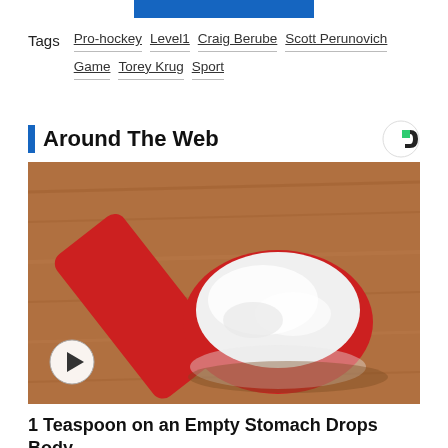[Figure (other): Blue button/bar at top of page]
Tags  Pro-hockey Level1 Craig Berube Scott Perunovich Game Torey Krug Sport
Around The Web
[Figure (photo): A red measuring spoon filled with white powder (flour or similar), resting on a wooden surface. A play button icon is overlaid on the bottom left.]
1 Teaspoon on an Empty Stomach Drops Body